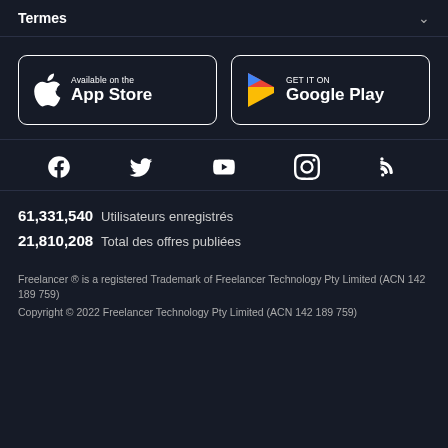Termes
[Figure (logo): Available on the App Store button (Apple logo with text)]
[Figure (logo): GET IT ON Google Play button (Google Play triangle logo with text)]
[Figure (infographic): Social media icons: Facebook, Twitter, YouTube, Instagram, RSS]
61,331,540  Utilisateurs enregistrés
21,810,208  Total des offres publiées
Freelancer ® is a registered Trademark of Freelancer Technology Pty Limited (ACN 142 189 759)
Copyright © 2022 Freelancer Technology Pty Limited (ACN 142 189 759)